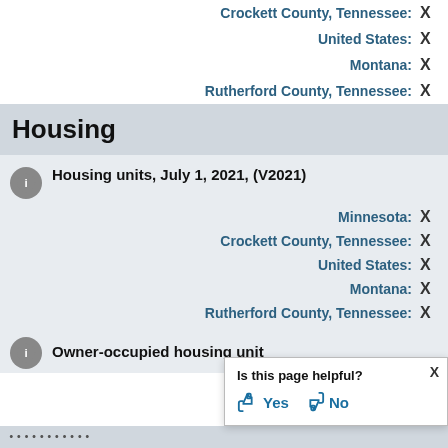Crockett County, Tennessee: X
United States: X
Montana: X
Rutherford County, Tennessee: X
Housing
Housing units, July 1, 2021, (V2021)
Minnesota: X
Crockett County, Tennessee: X
United States: X
Montana: X
Rutherford County, Tennessee: X
Owner-occupied housing unit
Is this page helpful? Yes No